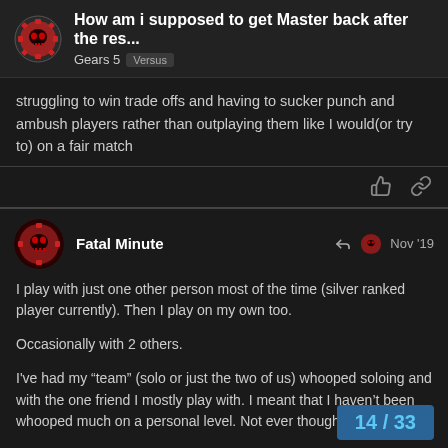How am i supposed to get Master back after the res... | Gears 5 | Versus
struggling to win trade offs and having to sucker punch and ambush players rather than outplaying them like I would(or try to) on a fair match
Fatal Minute — Nov '19
I play with just one other person most of the time (silver ranked player currently). Then I play on my own too.

Occasionally with 2 others.

I've had my “team” (solo or just the two of us) whooped soloing and with the one friend I mostly play with. I meant that I haven't been whooped much on a personal level. Not ever though of course.

Presumptions are never a good thing
14 / 33